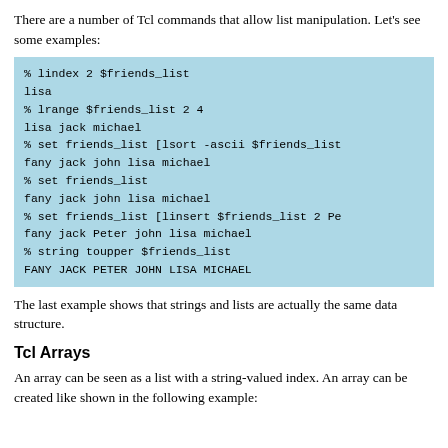There are a number of Tcl commands that allow list manipulation. Let's see some examples:
[Figure (screenshot): Code block on light blue background showing Tcl list manipulation commands and their output: lindex, lrange, lsort, set, linsert, string toupper]
The last example shows that strings and lists are actually the same data structure.
Tcl Arrays
An array can be seen as a list with a string-valued index. An array can be created like shown in the following example: